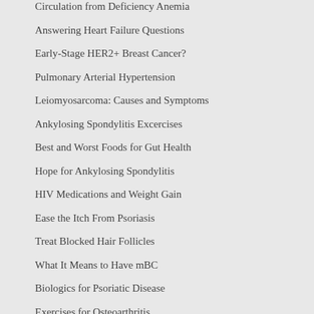Circulation from Deficiency Anemia
Answering Heart Failure Questions
Early-Stage HER2+ Breast Cancer?
Pulmonary Arterial Hypertension
Leiomyosarcoma: Causes and Symptoms
Ankylosing Spondylitis Excercises
Best and Worst Foods for Gut Health
Hope for Ankylosing Spondylitis
HIV Medications and Weight Gain
Ease the Itch From Psoriasis
Treat Blocked Hair Follicles
What It Means to Have mBC
Biologics for Psoriatic Disease
Exercises for Osteoarthritis
ADVERTISEMENT
[Figure (other): UltraVoice advertisement banner with OPEN button]